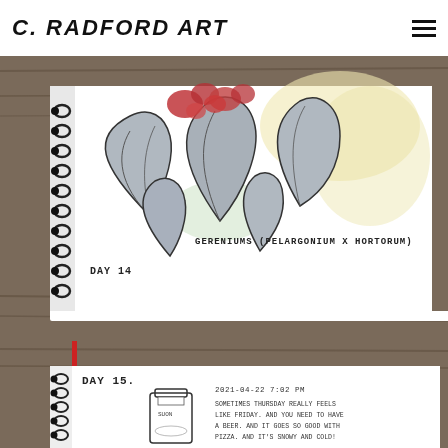C. RADFORD ART
[Figure (photo): Photo of an open spiral-bound sketchbook on a wooden surface, showing a hand-drawn and watercolored illustration of geraniums (pelargonium x hortorum). The sketch has large grey-blue leaves with red flower clusters at the top. Text on the sketchbook page reads 'GERENIUMS (PELARGONIUM X HORTORUM)' and 'DAY 14'.]
[Figure (photo): Photo of an open spiral-bound sketchbook on a wooden surface showing 'DAY 15' with a pencil drawing of a glass jar/bottle labeled 'SUON' and handwritten text reading '2021-04-22  7:02 PM' and 'SOMETIMES THURSDAY REALLY FEELS LIKE FRIDAY. AND YOU NEED TO HAVE A BEER. AND IT GOES SO GOOD WITH PIZZA. AND IT'S SNOWY AND COLD! ANOTHeR REASON TO ENJOY A BEER.' A red paintbrush is visible on the left side.]